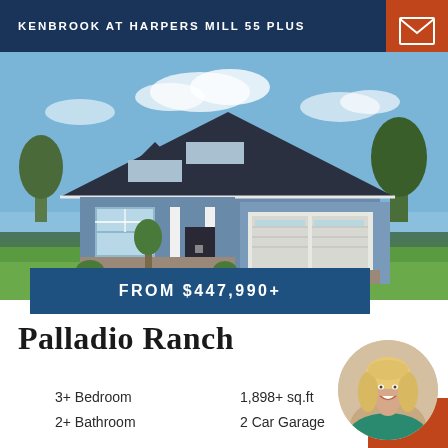KENBROOK AT HARPERS MILL 55 PLUS
[Figure (photo): Exterior photo of a craftsman-style ranch home with blue-gray siding, white trim, stone accents, two-car garage, and green lawn under a blue sky.]
FROM $447,990+
Palladio Ranch
3+ Bedroom
2+ Bathroom
1,898+ sq.ft
2 Car Garage
[Figure (photo): Circular headshot photo of a smiling blonde woman real estate agent.]